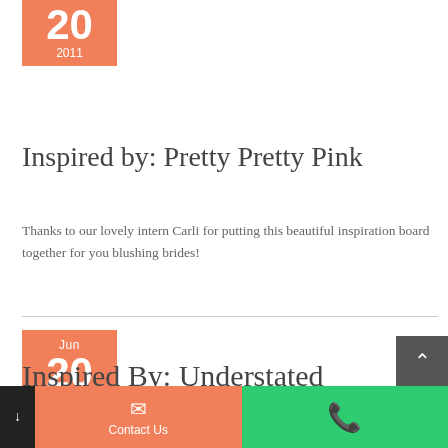[Figure (other): Orange date box showing day 20, year 2011 (month partially cropped)]
Inspired by: Pretty Pretty Pink
Thanks to our lovely intern Carli for putting this beautiful inspiration board together for you blushing brides!
[Figure (other): Orange date box showing Jun 20, 2011]
Inspired By: Understated Beauty
Contact Us  [phone icon]